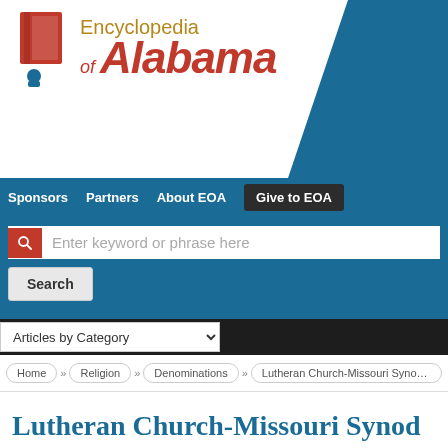[Figure (logo): Encyclopedia of Alabama logo with red state silhouette icon and stylized text]
Sponsors   Partners   About EOA   Give to EOA
Enter keyword or phrase here
Search
Articles by Category
Home » Religion » Denominations » Lutheran Church-Missouri Synod in Ala...
Lutheran Church-Missouri Synod in Alabama